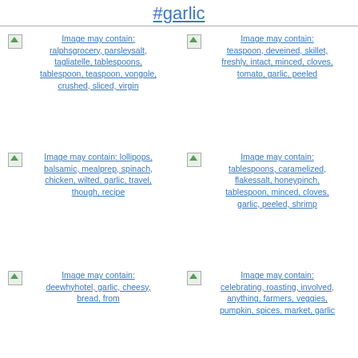#garlic
[Figure (screenshot): Broken image placeholder with link text: Image may contain: ralphsgrocery, parseysalt, tagliatelle, tablespoons, tablespoon, teaspoon, vongole, crushed, sliced, virgin]
[Figure (screenshot): Broken image placeholder with link text: Image may contain: teaspoon, deveined, skillet, freshly, intact, minced, cloves, tomato, garlic, peeled]
[Figure (screenshot): Broken image placeholder with link text: Image may contain: lollipops, balsamic, mealprep, spinach, chicken, wilted, garlic, travel, though, recipe]
[Figure (screenshot): Broken image placeholder with link text: Image may contain: tablespoons, caramelized, flakessalt, honeypinch, tablespoon, minced, cloves, garlic, peeled, shrimp]
[Figure (screenshot): Broken image placeholder with link text: Image may contain: deewhyhotel, garlic, cheesy, bread, from]
[Figure (screenshot): Broken image placeholder with link text: Image may contain: celebrating, roasting, involved, anything, farmers, veggies, pumpkin, spices, market, garlic]